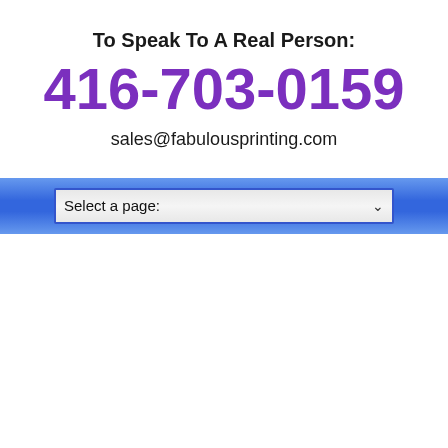To Speak To A Real Person:
416-703-0159
sales@fabulousprinting.com
[Figure (screenshot): Blue gradient navigation bar with a dropdown select box labeled 'Select a page:']